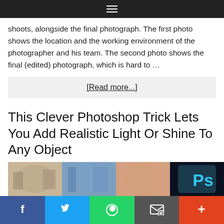≡
shoots, alongside the final photograph. The first photo shows the location and the working environment of the photographer and his team. The second photo shows the final (edited) photograph, which is hard to …
[Read more...]
This Clever Photoshop Trick Lets You Add Realistic Light Or Shine To Any Object
[Figure (photo): Thumbnail image showing four panels: blurry indoor scene, blue-tinted close-up, skin-toned texture, and Photoshop 'Ps' logo on teal background]
f  🐦  WhatsApp  Email  +